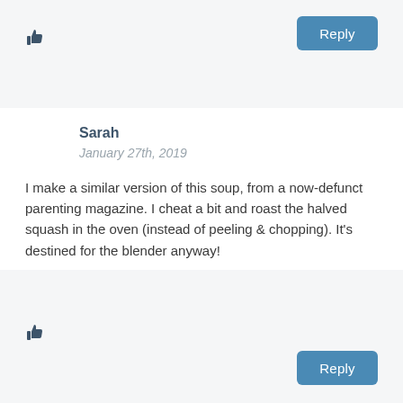[Figure (other): Thumbs up icon at top left]
Reply
Sarah
January 27th, 2019
I make a similar version of this soup, from a now-defunct parenting magazine. I cheat a bit and roast the halved squash in the oven (instead of peeling & chopping). It's destined for the blender anyway!
[Figure (other): Thumbs up icon at bottom left]
Reply